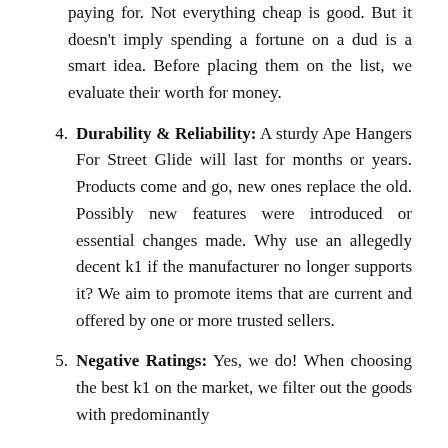paying for. Not everything cheap is good. But it doesn't imply spending a fortune on a dud is a smart idea. Before placing them on the list, we evaluate their worth for money.
4. Durability & Reliability: A sturdy Ape Hangers For Street Glide will last for months or years. Products come and go, new ones replace the old. Possibly new features were introduced or essential changes made. Why use an allegedly decent k1 if the manufacturer no longer supports it? We aim to promote items that are current and offered by one or more trusted sellers.
5. Negative Ratings: Yes, we do! When choosing the best k1 on the market, we filter out the goods with predominantly